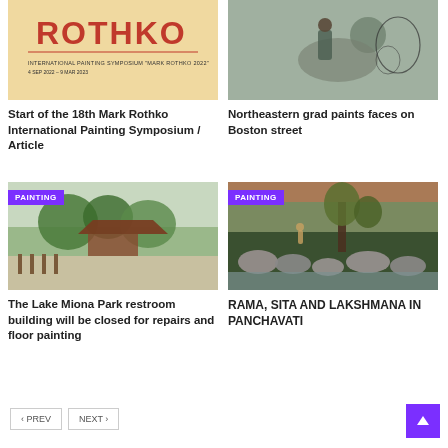[Figure (photo): Rothko symposium poster with tan/yellow background showing stylized text and event details]
Start of the 18th Mark Rothko International Painting Symposium / Article
[Figure (photo): Northeastern grad painting faces on Boston street, photo of person at outdoor mural]
Northeastern grad paints faces on Boston street
[Figure (photo): Lake Miona Park pavilion and park scenery with trees and grass, labeled PAINTING]
The Lake Miona Park restroom building will be closed for repairs and floor painting
[Figure (illustration): Painting of Rama, Sita and Lakshmana in Panchavati, a landscape painting with trees and figures, labeled PAINTING]
RAMA, SITA AND LAKSHMANA IN PANCHAVATI
< PREV   NEXT >